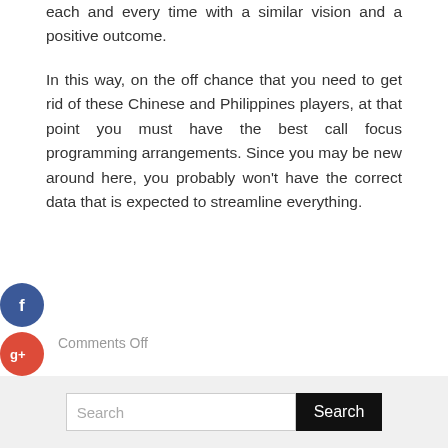each and every time with a similar vision and a positive outcome.
In this way, on the off chance that you need to get rid of these Chinese and Philippines players, at that point you must have the best call focus programming arrangements. Since you may be new around here, you probably won't have the correct data that is expected to streamline everything.
[Figure (other): Social media share icons: Facebook (blue circle with f), Google+ (red circle with g+), Twitter (blue circle with bird), Plus (dark grey circle with +)]
Comments Off
[Figure (other): Horizontal divider line]
[Figure (other): Search bar with text field showing 'Search' placeholder and a black Search button]